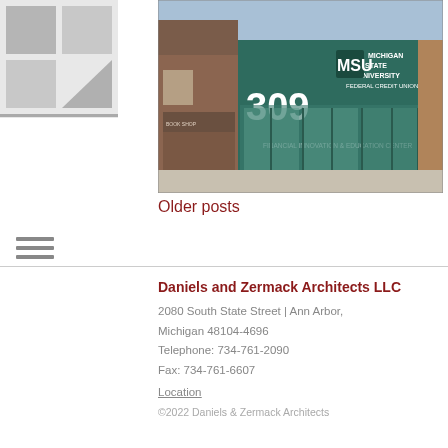[Figure (logo): Daniels and Zermack Architects logo — grey square grid with diagonal element]
[Figure (photo): Exterior photo of Michigan State University Federal Credit Union Financial Innovation & Education Center at 309, a green-clad building with glass doors]
Older posts
Daniels and Zermack Architects LLC
2080 South State Street | Ann Arbor, Michigan 48104-4696
Telephone: 734-761-2090
Fax: 734-761-6607
Location
©2022 Daniels & Zermack Architects